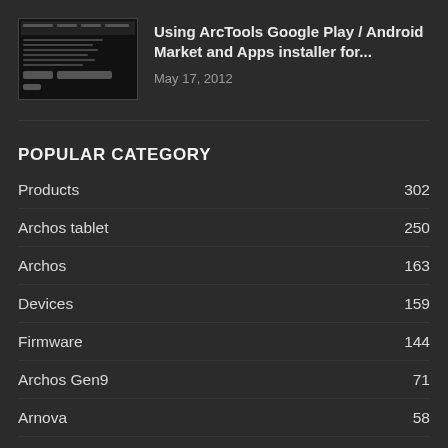[Figure (screenshot): Thumbnail screenshot of ArcTools Android app interface, dark background with text and buttons]
Using ArcTools Google Play / Android Market and Apps installer for...
May 17, 2012
POPULAR CATEGORY
Products 302
Archos tablet 250
Archos 163
Devices 159
Firmware 144
Archos Gen9 71
Arnova 58
Arnova G3 52
Archos Gen8 45